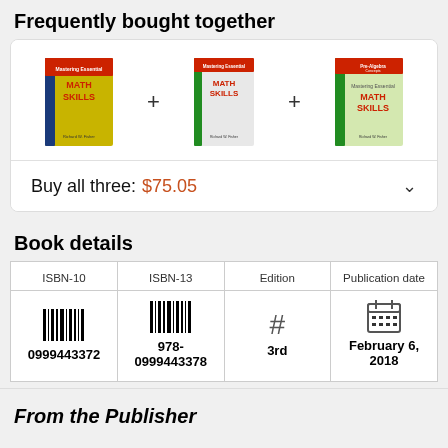Frequently bought together
[Figure (illustration): Three math skills book covers shown side by side with plus signs between them, inside a rounded rectangle box]
Buy all three: $75.05
Book details
| ISBN-10 | ISBN-13 | Edition | Publication date |
| --- | --- | --- | --- |
| 0999443372 | 978-0999443378 | 3rd | February 6, 2018 |